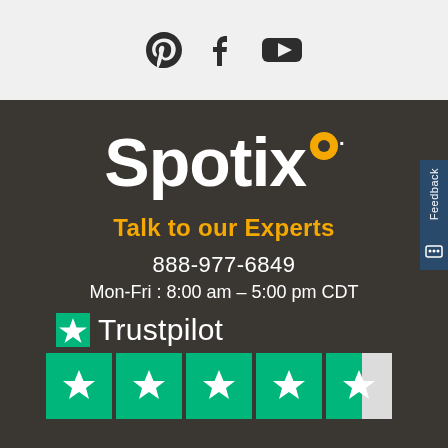[Figure (logo): Social media icons: Pinterest, Facebook, YouTube on light gray background]
[Figure (logo): Spotix logo in white bold text with orange circular dot above the x, on dark background]
Talk to our Experts
888-977-6849
Mon-Fri : 8:00 am - 5:00 pm CDT
[Figure (logo): Trustpilot logo with green star and text, followed by 4 full green star rating boxes and one partial (gray) star box]